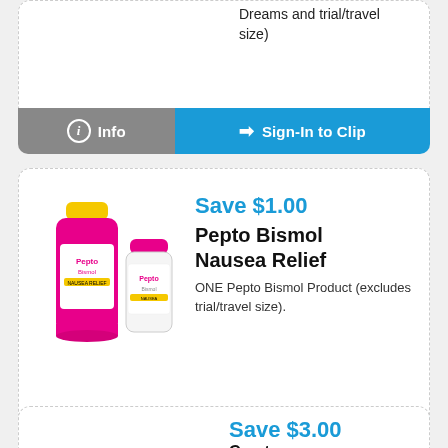Dreams and trial/travel size)
ℹ Info
➡ Sign-In to Clip
Save $1.00
Pepto Bismol Nausea Relief
ONE Pepto Bismol Product (excludes trial/travel size).
[Figure (photo): Two Pepto Bismol product bottles: a pink liquid bottle and a smaller pink pill bottle]
ℹ Info
➡ Sign-In to Clip
Save $3.00